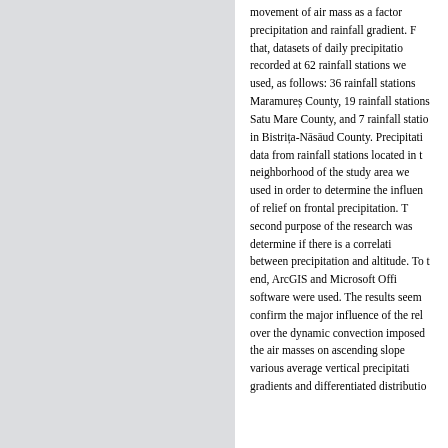[Figure (other): Left half of page showing a light gray textured background panel, likely part of a figure or image from the document.]
movement of air mass as a factor precipitation and rainfall gradient. that, datasets of daily precipitati recorded at 62 rainfall stations we used, as follows: 36 rainfall stations Maramureș County, 19 rainfall stations Satu Mare County, and 7 rainfall statio in Bistrița-Nāsāud County. Precipitati data from rainfall stations located in t neighborhood of the study area we used in order to determine the influen of relief on frontal precipitation. T second purpose of the research was determine if there is a correlati between precipitation and altitude. To t end, ArcGIS and Microsoft Offi software were used. The results seem confirm the major influence of the rel over the dynamic convection imposed the air masses on ascending slope various average vertical precipitati gradients and differentiated distribution